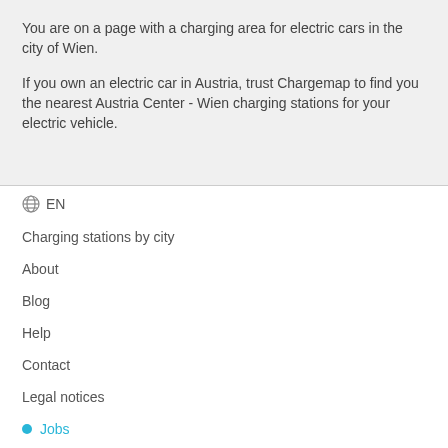You are on a page with a charging area for electric cars in the city of Wien.
If you own an electric car in Austria, trust Chargemap to find you the nearest Austria Center - Wien charging stations for your electric vehicle.
EN
Charging stations by city
About
Blog
Help
Contact
Legal notices
Jobs